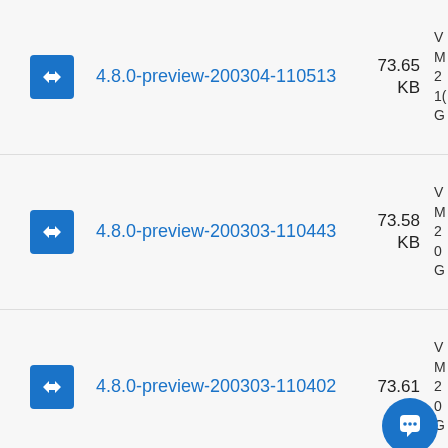4.8.0-preview-200304-110513 73.65 KB
4.8.0-preview-200303-110443 73.58 KB
4.8.0-preview-200303-110402 73.61 KB